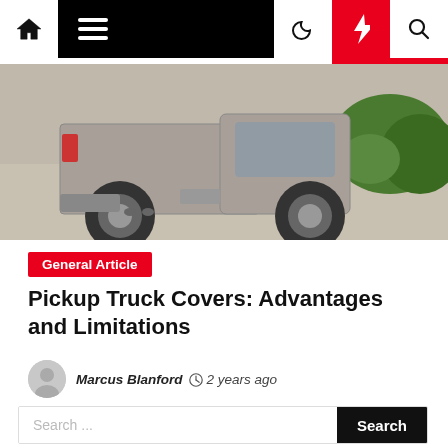Navigation bar with home, menu, moon, lightning, search icons
[Figure (photo): Rear view of a silver pickup truck parked on a driveway with green shrubbery in background]
General Article
Pickup Truck Covers: Advantages and Limitations
Marcus Blanford  2 years ago